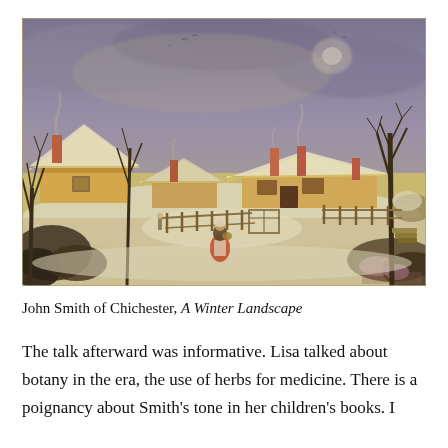[Figure (illustration): Oil painting 'A Winter Landscape' by John Smith of Chichester. A winter village scene with snow-covered thatched-roof cottages, bare trees, a wooden fence, and a woman carrying a basket walking along a snowy path. The sky is overcast with grey-purple clouds.]
John Smith of Chichester, A Winter Landscape
The talk afterward was informative. Lisa talked about botany in the era, the use of herbs for medicine. There is a poignancy about Smith's tone in her children's books. I